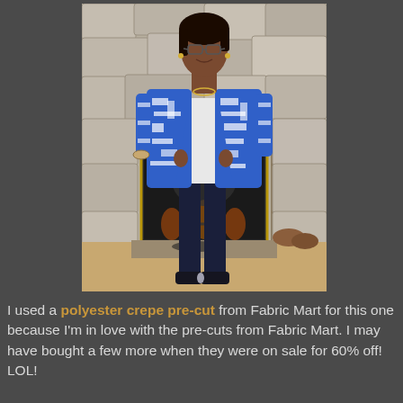[Figure (photo): A woman standing in front of a stone fireplace wearing a blue and white patterned open shirt/jacket over a white top, dark navy pants, and dark sneakers. She is smiling and wearing glasses.]
I used a polyester crepe pre-cut from Fabric Mart for this one because I'm in love with the pre-cuts from Fabric Mart. I may have bought a few more when they were on sale for 60% off! LOL!